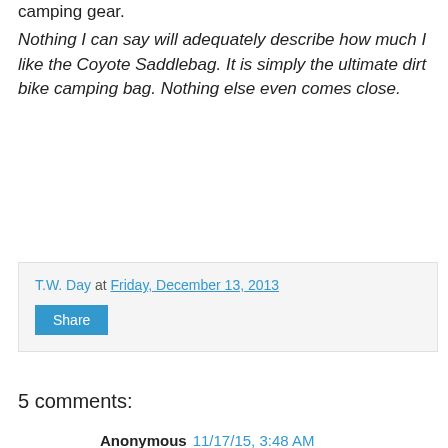camping gear.
Nothing I can say will adequately describe how much I like the Coyote Saddlebag. It is simply the ultimate dirt bike camping bag. Nothing else even comes close.
T.W. Day at Friday, December 13, 2013
Share
5 comments:
Anonymous 11/17/15, 3:48 AM
hello
thanks for this review.
I am on my way back from Morocco trails to France . I am looking for a new saddle to replace my old gear who turned out into pieces ( on rocks ) . Fortunately I could use an old rucksack put on en the seat as a solution for a moment . I had no s bag or tarp gear at this moment, send back by a 4WD.